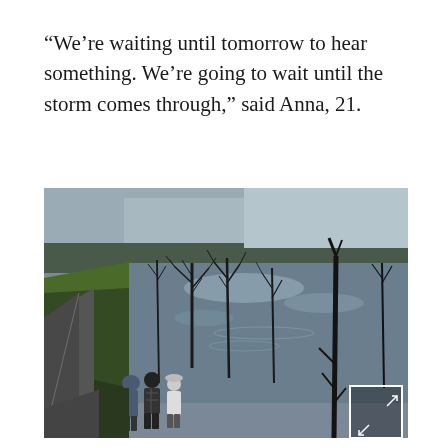“We’re waiting until tomorrow to hear something. We’re going to wait until the storm comes through,” said Anna, 21.
[Figure (photo): Aerial view of a flooded river with bare trees standing in the water. A road runs along the left bank with green grass on the embankment. Three people stand at the edge looking at the flooded river. The scene is overcast and moody.]